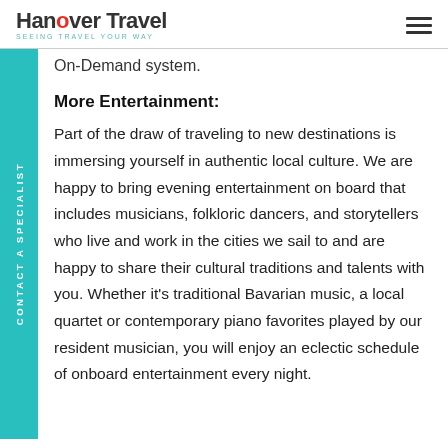Hanover Travel — SEEING TRAVEL YOUR WAY
On-Demand system.
More Entertainment:
Part of the draw of traveling to new destinations is immersing yourself in authentic local culture. We are happy to bring evening entertainment on board that includes musicians, folkloric dancers, and storytellers who live and work in the cities we sail to and are happy to share their cultural traditions and talents with you. Whether it's traditional Bavarian music, a local quartet or contemporary piano favorites played by our resident musician, you will enjoy an eclectic schedule of onboard entertainment every night.